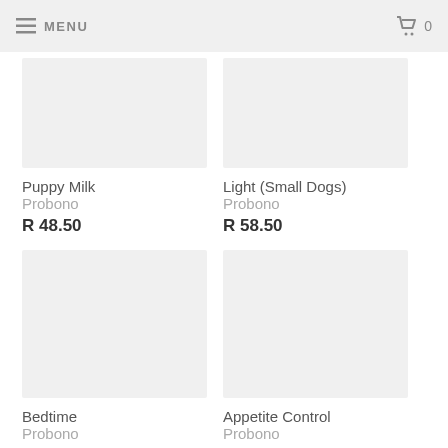≡ MENU   🛒 0
Puppy Milk
Probono
R 48.50
Light (Small Dogs)
Probono
R 58.50
Bedtime
Probono
R 50.50
Appetite Control
Probono
R 50.50